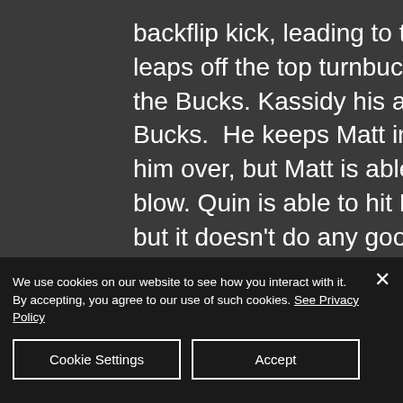backflip kick, leading to the hot tag. Kassidy leaps off the top turnbuckle into a drop kick on the Bucks. Kassidy his a double rana on the Bucks.  He keeps Matt in the ring and works him over, but Matt is able to get in a lucky blow. Quin is able to hit Matt with silly string, but it doesn't do any good and Matt hits Kassidy with a trio of Suplexes.  Great strength being shown by Matt as he keeps him grip on him. Quin enters and Matt his a suplex on both for a two
We use cookies on our website to see how you interact with it. By accepting, you agree to our use of such cookies. See Privacy Policy
Cookie Settings
Accept